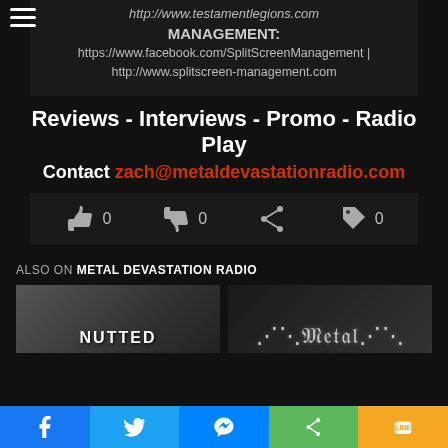http://www.testamentlegions.com MANAGEMENT: https://www.facebook.com/SplitScreenManagement | http://www.splitscreen-management.com
Reviews - Interviews - Promo - Radio Play
Contact zach@metaldevastationradio.com
0  0  (share)  0
ALSO ON METAL DEVASTATION RADIO
[Figure (screenshot): Thumbnail image with text NUTTED]
[Figure (screenshot): Thumbnail image with metal band logo]
Facebook | Twitter | Messenger | Share | Line